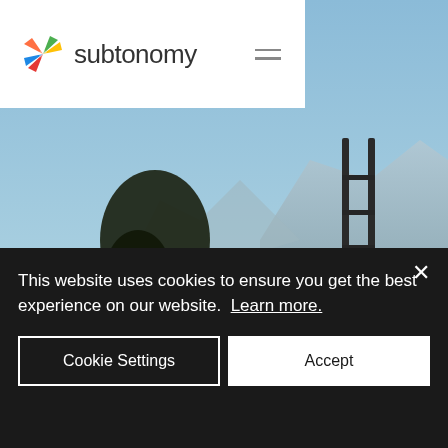[Figure (logo): Subtonomy logo with colorful star/pinwheel and the text 'subtonomy']
[Figure (photo): Outdoor photo showing a lake with mountains in the background, trees on the left, a tall metal ladder standing vertically in the foreground, blue sky]
This website uses cookies to ensure you get the best experience on our website. Learn more.
Cookie Settings
Accept